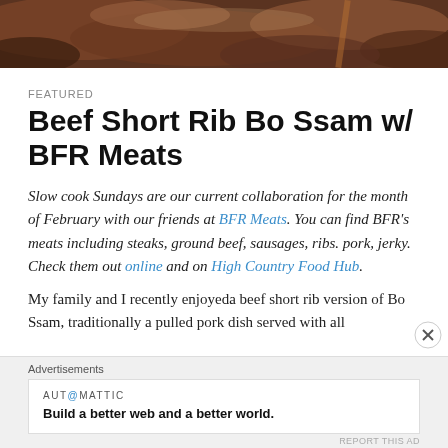[Figure (photo): Top portion of a food photo showing shredded/pulled beef short rib in a bowl, brown/red tones, partially cropped at top of page]
FEATURED
Beef Short Rib Bo Ssam w/ BFR Meats
Slow cook Sundays are our current collaboration for the month of February with our friends at BFR Meats. You can find BFR's meats including steaks, ground beef, sausages, ribs. pork, jerky. Check them out online and on High Country Food Hub.
My family and I recently enjoyeda beef short rib version of Bo Ssam, traditionally a pulled pork dish served with all
Advertisements
[Figure (screenshot): Automattic advertisement banner: logo reads AUT@MATTIC, tagline says Build a better web and a better world.]